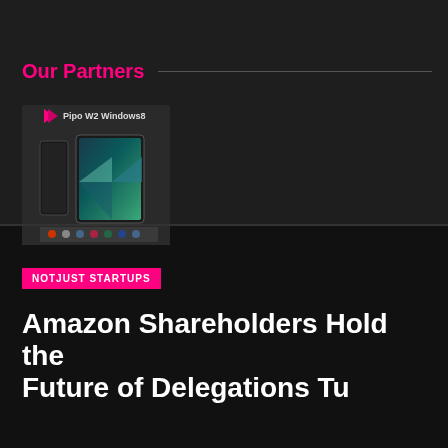Our Partners
[Figure (photo): Pipo W2 Windows8 tablet product image showing a thin black tablet and a tablet displaying colorful screen, with app icons bar at the bottom]
NOTJUST STARTUPS
Amazon Shareholders Hold the Future of Delegations Tu...